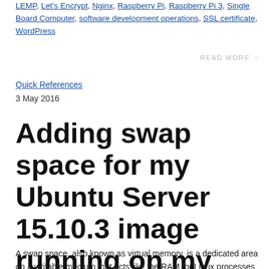LEMP, Let's Encrypt, Nginx, Raspberry Pi, Raspberry Pi 3, Single Board Computer, software development operations, SSL certificate, WordPress
READ MORE →
Quick References
3 May 2016
Adding swap space for my Ubuntu Server 15.10.3 image running on my Raspberry Pi 3
A swap space. also known as virtual memory, is a dedicated area on a writable medium that acts like the RAM for Linux processes to remember things